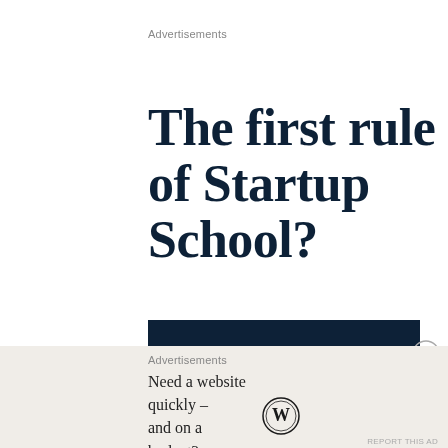Advertisements
The first rule of Startup School?
[Figure (other): Dark navy banner with white bold text reading 'Ask questions.']
[Figure (other): Circular close/dismiss button with X symbol]
Advertisements
Need a website quickly – and on a budget?
[Figure (logo): WordPress circular logo mark in dark color]
REPORT THIS AD